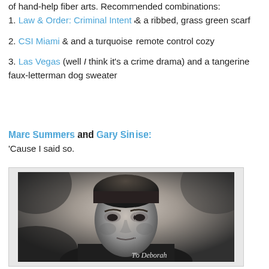of hand-help fiber arts. Recommended combinations:
1. Law & Order: Criminal Intent & a ribbed, grass green scarf
2. CSI Miami & and a turquoise remote control cozy
3. Las Vegas (well I think it's a crime drama) and a tangerine faux-letterman dog sweater
Marc Summers and Gary Sinise:
'Cause I said so.
[Figure (photo): Black and white signed headshot photo of a man in a suit, with handwritten autograph reading 'To Deborah']